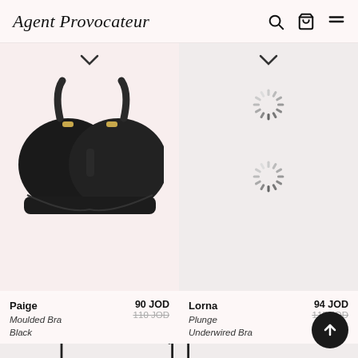Agent Provocateur
[Figure (photo): Black moulded push-up bra on white background - Paige Moulded Bra Black]
[Figure (other): Loading spinner placeholder for second product image (Lorna)]
[Figure (other): Loading spinner placeholder for third product image (Lorna secondary)]
Paige | Moulded Bra Black | 90 JOD | 110 JOD
Lorna | Plunge Underwired Bra | 94 JOD | 115 JOD
[Figure (photo): Bottom partial view of black bra straps for next product row]